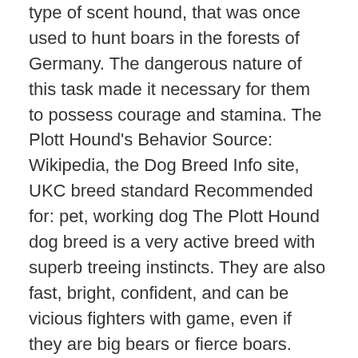type of scent hound, that was once used to hunt boars in the forests of Germany. The dangerous nature of this task made it necessary for them to possess courage and stamina. The Plott Hound's Behavior Source: Wikipedia, the Dog Breed Info site, UKC breed standard Recommended for: pet, working dog The Plott Hound dog breed is a very active breed with superb treeing instincts. They are also fast, bright, confident, and can be vicious fighters with game, even if they are big bears or fierce boars. They will not hesitate to get into water and can quickly learn from training. Yet despite this nature, they are good family pets. The Plotts bond well with humans and is good with children as they are loyal and intelligent. Remember that breed only provides a general clue as to any individual dog's actual behavior. Make sure to get to know dogs well before bringing them into your home. The Plott Hound's Physical Characteristics Here are some of the characteristics of the Plott Hound breed as determined by the American Kennel Club's published breed